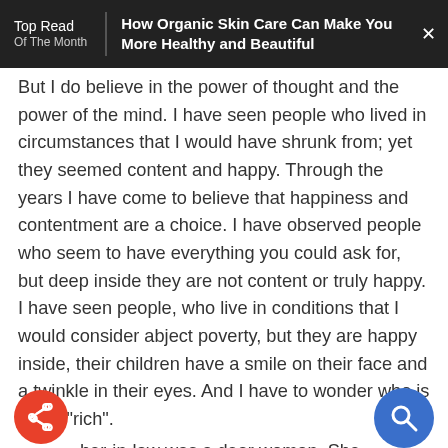Top Read Of The Month | How Organic Skin Care Can Make You More Healthy and Beautiful
But I do believe in the power of thought and the power of the mind. I have seen people who lived in circumstances that I would have shrunk from; yet they seemed content and happy. Through the years I have come to believe that happiness and contentment are a choice. I have observed people who seem to have everything you could ask for, but deep inside they are not content or truly happy. I have seen people, who live in conditions that I would consider abject poverty, but they are happy inside, their children have a smile on their face and a twinkle in their eyes. And I have to wonder who is really "rich".
her-in-law was a dear woman. She was born in 1907 and came to Canada in 1914. Her father came from a wealthy family that was unwilling to accept his...